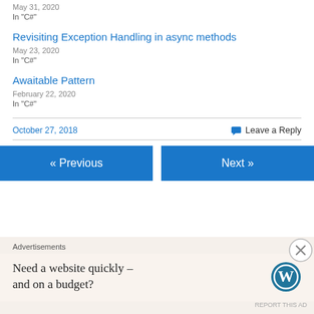May 31, 2020
In "C#"
Revisiting Exception Handling in async methods
May 23, 2020
In "C#"
Awaitable Pattern
February 22, 2020
In "C#"
October 27, 2018
Leave a Reply
« Previous
Next »
Advertisements
Need a website quickly – and on a budget?